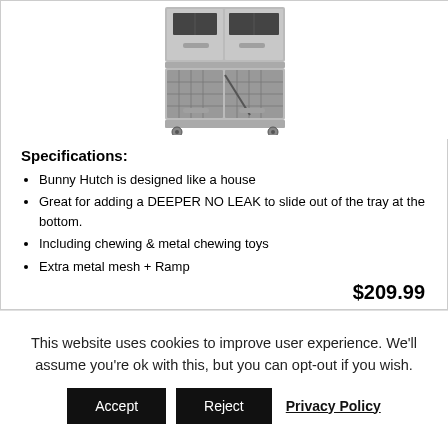[Figure (photo): A two-level gray wooden bunny hutch with metal mesh panels, a ramp, and four caster wheels on the bottom.]
Specifications:
Bunny Hutch is designed like a house
Great for adding a DEEPER NO LEAK to slide out of the tray at the bottom.
Including chewing & metal chewing toys
Extra metal mesh + Ramp
$209.99
This website uses cookies to improve user experience. We'll assume you're ok with this, but you can opt-out if you wish.
Accept
Reject
Privacy Policy